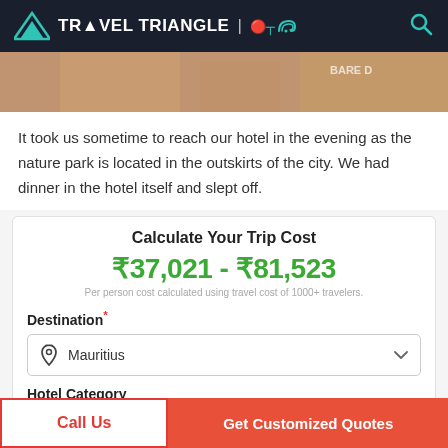TRAVEL TRIANGLE
[Figure (photo): Partial photo of people at a nature park or outdoor area, cropped view showing person with floral top]
It took us sometime to reach our hotel in the evening as the nature park is located in the outskirts of the city. We had dinner in the hotel itself and slept off.
Calculate Your Trip Cost
₹37,021 - ₹81,523
Per person cost calculated using travel cost of 1000+ travelers.
Destination*
Mauritius
Hotel Category
Call Us | Get Customized Quotes